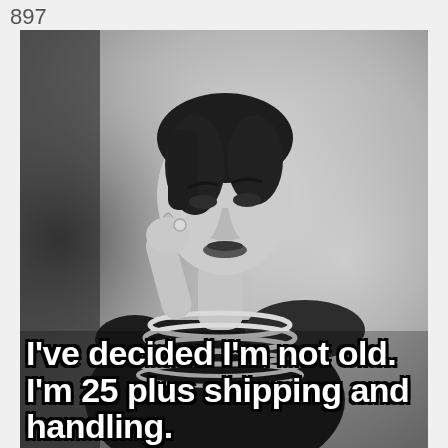897
[Figure (photo): Black and white vintage photo of an elegant woman in a black dress wearing multiple strands of pearl necklaces, with her hand raised near her face. Overlaid with bold white text with black outline reading: I've decided I'm not old. I'm 25 plus shipping and handling.]
I've decided I'm not old. I'm 25 plus shipping and handling.